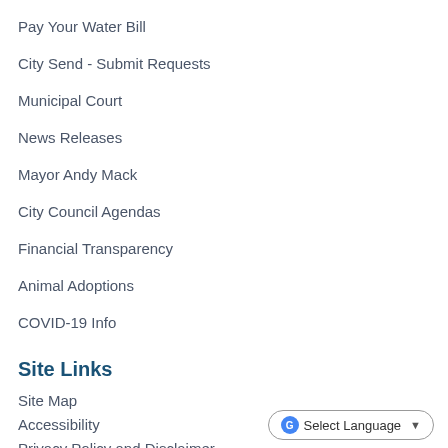Pay Your Water Bill
City Send - Submit Requests
Municipal Court
News Releases
Mayor Andy Mack
City Council Agendas
Financial Transparency
Animal Adoptions
COVID-19 Info
Site Links
Site Map
Accessibility
Privacy Policy and Disclaimer